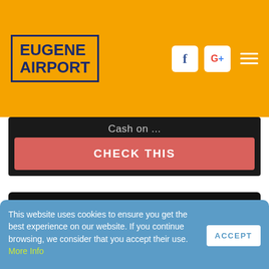EUGENE AIRPORT
Cash on ...
CHECK THIS
Fashion Bug Credit Card Payment Online Login - Official Login Page
This website uses cookies to ensure you get the best experience on our website. If you continue browsing, we consider that you accept their use. More Info
account, check the status of an order, or find a